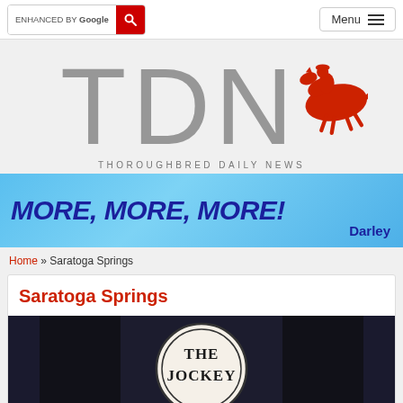enhanced by Google [search] Menu
[Figure (logo): TDN Thoroughbred Daily News logo with red jockey on horse silhouette and large grey TDN letters]
[Figure (infographic): Banner advertisement: MORE, MORE, MORE! Darley on light blue background]
Home » Saratoga Springs
Saratoga Springs
[Figure (photo): Photo showing THE JOCKEY text on circular emblem, partial view]